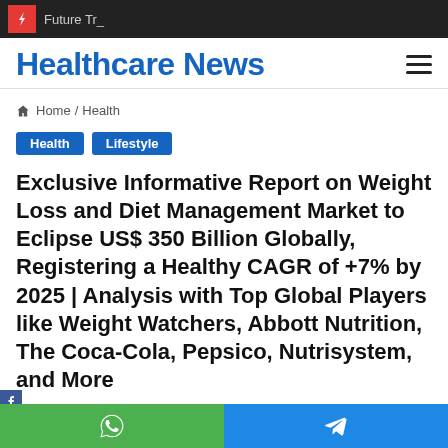Future Tr_
Healthcare News
Home / Health
Health
Lifestyle
Exclusive Informative Report on Weight Loss and Diet Management Market to Eclipse US$ 350 Billion Globally, Registering a Healthy CAGR of +7% by 2025 | Analysis with Top Global Players like Weight Watchers, Abbott Nutrition, The Coca-Cola, Pepsico, Nutrisystem, and More